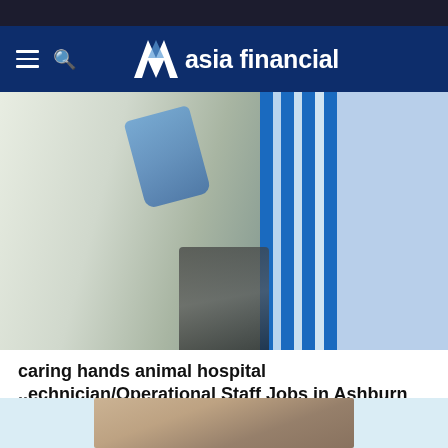asia financial
[Figure (photo): A woman wearing a green hijab and safety glasses holds a vial in a laboratory setting, with a microscope and blue lab furniture in the background.]
caring hands animal hospital ..echnician/Operational Staff Jobs in Ashburn
jobble.com
Outbrain
[Figure (photo): Partial view of two people — bottom banner advertisement area with light blue background.]